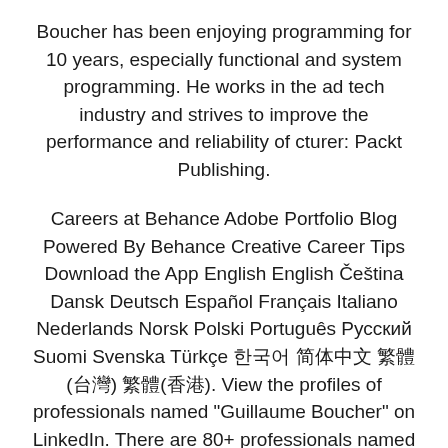Boucher has been enjoying programming for 10 years, especially functional and system programming. He works in the ad tech industry and strives to improve the performance and reliability of cturer: Packt Publishing.
Careers at Behance Adobe Portfolio Blog Powered By Behance Creative Career Tips Download the App English English Čeština Dansk Deutsch Español Français Italiano Nederlands Norsk Polski Português Русский Suomi Svenska Türkçe 한국어 简体中文 繁體(台灣) 繁體(香港). View the profiles of professionals named "Guillaume Boucher" on LinkedIn. There are 80+ professionals named "Guillaume Boucher", who use LinkedIn to exchange information, ideas, and opportunities. COVID Resources. Reliable information about the coronavirus (COVID) is available from the World Health Organization (current situation, international